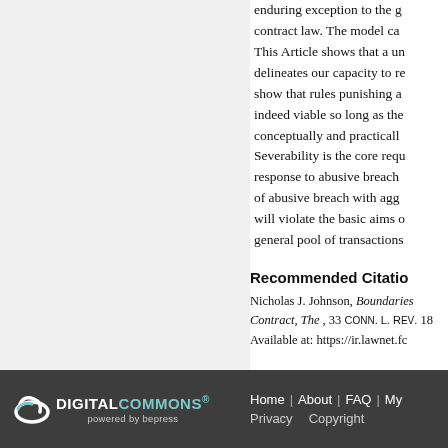enduring exception to the general principle of contract law. The model ca... This Article shows that a unified theory delineates our capacity to re... show that rules punishing abusive breach are indeed viable so long as the... conceptually and practically... Severability is the core requ... response to abusive breach... of abusive breach with agg... will violate the basic aims o... general pool of transactions...
Recommended Citation
Nicholas J. Johnson, Boundaries of Contract, The, 33 Conn. L. Rev. 18... Available at: https://ir.lawnet.fo...
[Figure (logo): Digital Commons powered by bepress logo — white swoosh icon with 'DIGITAL COMMONS' text and 'powered by bepress' subtitle on dark grey background]
Home | About | FAQ | My... Privacy Copyright